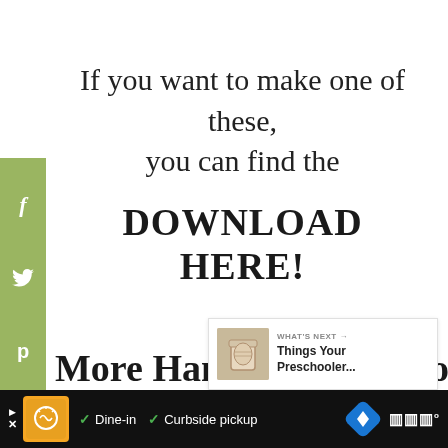If you want to make one of these, you can find the DOWNLOAD HERE!
[Figure (infographic): Social media share sidebar with Facebook (f), Twitter (bird), and Pinterest (p) icons on green/olive background]
[Figure (other): What's Next card with thumbnail image and text: WHAT'S NEXT → Things Your Preschooler...]
More Handwriting Resources
[Figure (other): Advertisement bar at bottom: AD triangle, restaurant logo, checkmarks for Dine-in and Curbside pickup, navigation icon, and sound/menu icon]